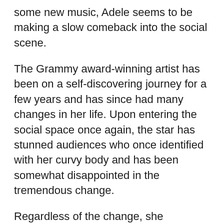some new music, Adele seems to be making a slow comeback into the social scene.
The Grammy award-winning artist has been on a self-discovering journey for a few years and has since had many changes in her life. Upon entering the social space once again, the star has stunned audiences who once identified with her curvy body and has been somewhat disappointed in the tremendous change.
Regardless of the change, she encourages fans that she is still the same person even if her body is not.
Following her split from her husband Simon, she revealed that her short marriage to him was “embarrassing” and would not open up about the term of her marriage. She further notes that people got the timing of her marriage wrong and that she had only gotten married to her son’s father in 2018. Her son, however, remains unnamed.